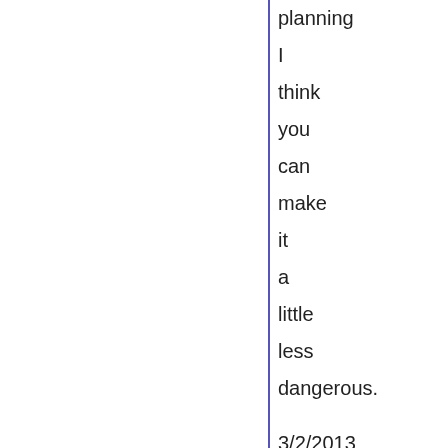planning
I
think
you
can
make
it
a
little
less
dangerous.
3/2/2013
It
was
snowing
when
I
left
home
but
I
put
my
trust
in
the
forecast
for